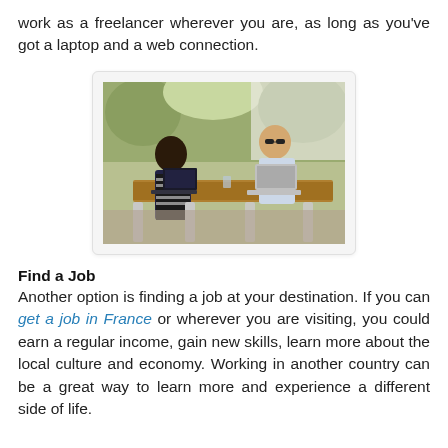work as a freelancer wherever you are, as long as you've got a laptop and a web connection.
[Figure (photo): Two people working on laptops at an outdoor table with greenery in the background.]
Find a Job
Another option is finding a job at your destination. If you can get a job in France or wherever you are visiting, you could earn a regular income, gain new skills, learn more about the local culture and economy. Working in another country can be a great way to learn more and experience a different side of life.